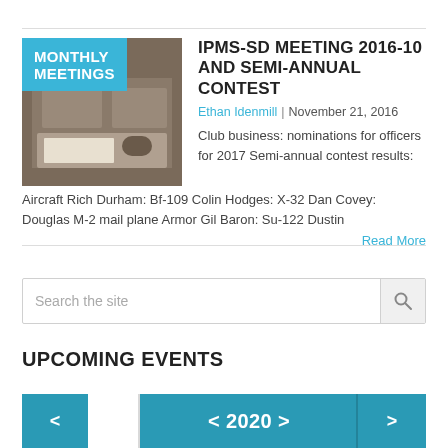[Figure (photo): Thumbnail image of model kits on a table with a blue overlay label reading MONTHLY MEETINGS]
IPMS-SD MEETING 2016-10 AND SEMI-ANNUAL CONTEST
Ethan Idenmill | November 21, 2016
Club business: nominations for officers for 2017 Semi-annual contest results: Aircraft Rich Durham: Bf-109 Colin Hodges: X-32 Dan Covey: Douglas M-2 mail plane Armor Gil Baron: Su-122 Dustin
Read More
Search the site
UPCOMING EVENTS
< 2020 >